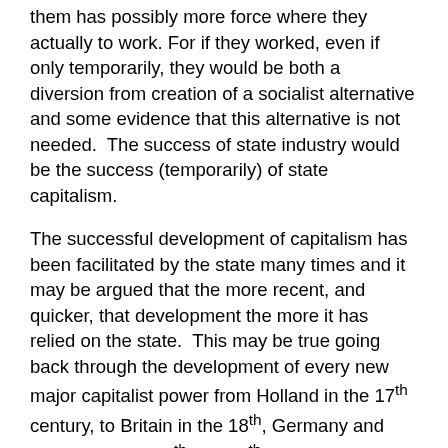them has possibly more force where they actually to work. For if they worked, even if only temporarily, they would be both a diversion from creation of a socialist alternative and some evidence that this alternative is not needed. The success of state industry would be the success (temporarily) of state capitalism.
The successful development of capitalism has been facilitated by the state many times and it may be argued that the more recent, and quicker, that development the more it has relied on the state. This may be true going back through the development of every new major capitalist power from Holland in the 17th century, to Britain in the 18th, Germany and America in the 19th and 20th, the Asian Tiger economies of the late twentieth century and the Chinese of the 21st century.